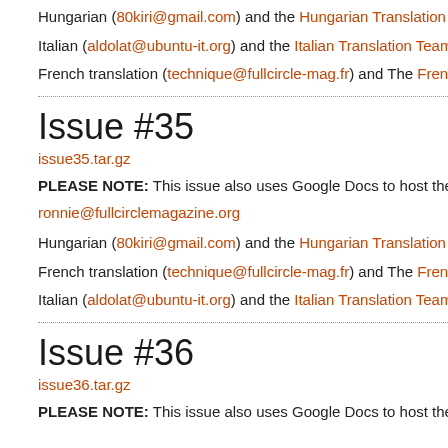Hungarian (80kiri@gmail.com) and the Hungarian Translation T
Italian (aldolat@ubuntu-it.org) and the Italian Translation Team
French translation (technique@fullcircle-mag.fr) and The Frenc
Issue #35
issue35.tar.gz
PLEASE NOTE: This issue also uses Google Docs to host the c ronnie@fullcirclemagazine.org
Hungarian (80kiri@gmail.com) and the Hungarian Translation T
French translation (technique@fullcircle-mag.fr) and The Frenc
Italian (aldolat@ubuntu-it.org) and the Italian Translation Team
Issue #36
issue36.tar.gz
PLEASE NOTE: This issue also uses Google Docs to host the d